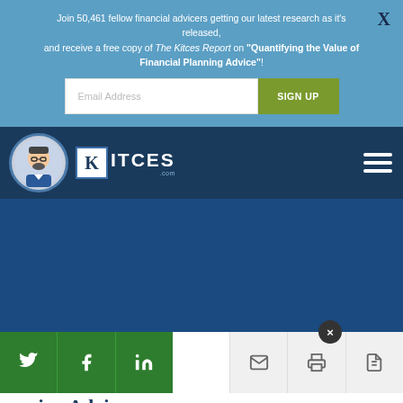Join 50,461 fellow financial advicers getting our latest research as it's released, and receive a free copy of The Kitces Report on "Quantifying the Value of Financial Planning Advice"!
[Figure (screenshot): Email Address input field and SIGN UP button for newsletter subscription]
[Figure (logo): Kitces.com navigation bar with avatar icon, Kitces logo, and hamburger menu]
[Figure (other): Dark blue content/image area below navigation bar]
[Figure (infographic): Social sharing bar with Twitter, Facebook, LinkedIn icons (green) and email, print, PDF icons (light gray)]
nning Advice